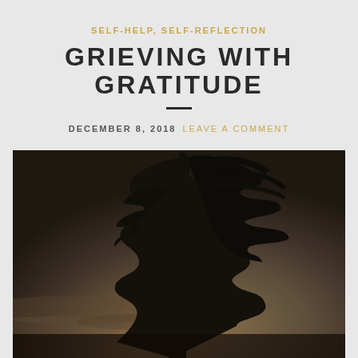SELF-HELP, SELF-REFLECTION
GRIEVING WITH GRATITUDE
DECEMBER 8, 2018   LEAVE A COMMENT
[Figure (photo): Dark moody photograph of a tall conifer tree silhouetted against a dim, overcast twilight sky with warm orange-brown tones near the horizon.]